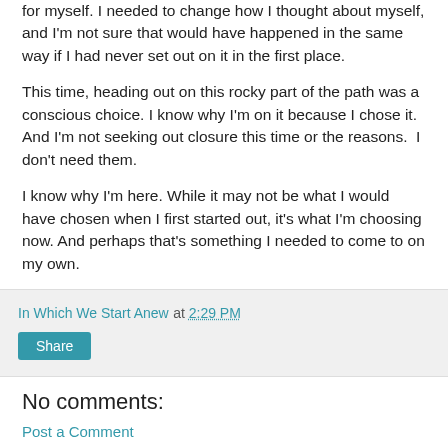for myself. I needed to change how I thought about myself, and I'm not sure that would have happened in the same way if I had never set out on it in the first place.
This time, heading out on this rocky part of the path was a conscious choice. I know why I'm on it because I chose it. And I'm not seeking out closure this time or the reasons.  I don't need them.
I know why I'm here. While it may not be what I would have chosen when I first started out, it's what I'm choosing now. And perhaps that's something I needed to come to on my own.
In Which We Start Anew at 2:29 PM
Share
No comments:
Post a Comment